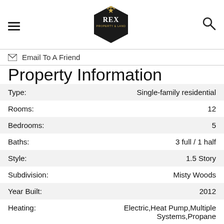REX PROPERTY & LAND — Email To A Friend
Property Information
| Field | Value |
| --- | --- |
| Type: | Single-family residential |
| Rooms: | 12 |
| Bedrooms: | 5 |
| Baths: | 3 full / 1 half |
| Style: | 1.5 Story |
| Subdivision: | Misty Woods |
| Year Built: | 2012 |
| Heating: | Electric,Heat Pump,Multiple Systems,Propane |
| Cooling: | Ceiling Fan(s),Central Air,Multiple Systems |